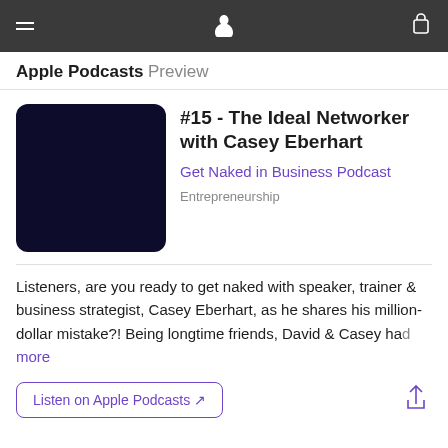Apple Podcasts Preview
#15 - The Ideal Networker with Casey Eberhart
Get Naked in Business Podcast
Entrepreneurship
Listeners, are you ready to get naked with speaker, trainer & business strategist, Casey Eberhart, as he shares his million-dollar mistake?! Being longtime friends, David & Casey had more
Listen on Apple Podcasts ↗